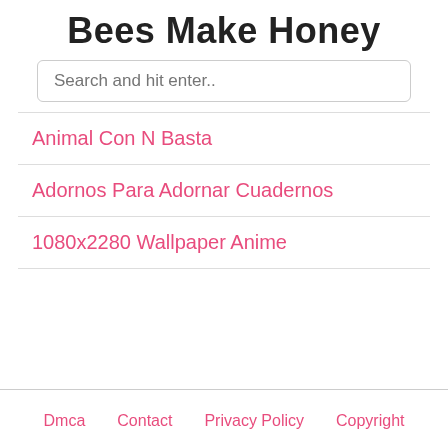Bees Make Honey
Search and hit enter..
Animal Con N Basta
Adornos Para Adornar Cuadernos
1080x2280 Wallpaper Anime
Dmca   Contact   Privacy Policy   Copyright